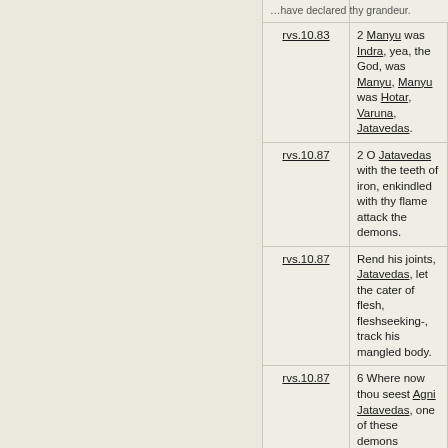| Reference | Text |
| --- | --- |
| rvs.10.83 | 2 Manyu was Indra, yea, the God, was Manyu, Manyu was Hotar, Varuna, Jatavedas. |
| rvs.10.87 | 2 O Jatavedas with the teeth of iron, enkindled with thy flame attack the demons. |
| rvs.10.87 | Rend his joints, Jatavedas, let the cater of flesh, fleshseeking-, track his mangled body. |
| rvs.10.87 | 6 Where now thou seest Agni Jatavedas, one of these demons standing still or roaming. |
| rvs.10.87 | 7 Tear from the evil spirit, Jatavedas, what he hath seized and with his spears hath captured. |
| rvs.10.87 | Loud roaring with thy flame, O Jatavedas, crush him and cast him down before the singer. |
| rvs.10.88 | He swiftly made all things that fly, stand, travel, all that hath motion, Agni Jatavedas. |
| rvs.10.88 | 5 Because thou, Agni, Jatavedas, stoodest at the worlds' head with thy refulgent splendour, |